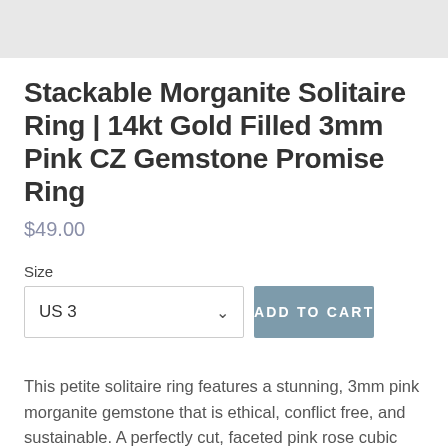[Figure (photo): Product image placeholder - light gray background showing top portion of product photo]
Stackable Morganite Solitaire Ring | 14kt Gold Filled 3mm Pink CZ Gemstone Promise Ring
$49.00
Size
US 3
ADD TO CART
This petite solitaire ring features a stunning, 3mm pink morganite gemstone that is ethical, conflict free, and sustainable. A perfectly cut, faceted pink rose cubic